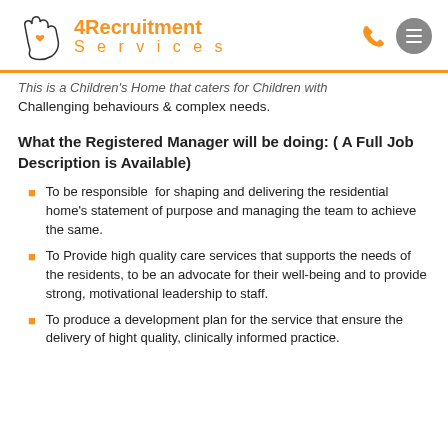4Recruitment Services
This is a Children's Home that caters for Children with Challenging behaviours & complex needs.
What the Registered Manager will be doing: ( A Full Job Description is Available)
To be responsible for shaping and delivering the residential home's statement of purpose and managing the team to achieve the same.
To Provide high quality care services that supports the needs of the residents, to be an advocate for their well-being and to provide strong, motivational leadership to staff.
To produce a development plan for the service that ensure the delivery of hight quality, clinically informed practice.